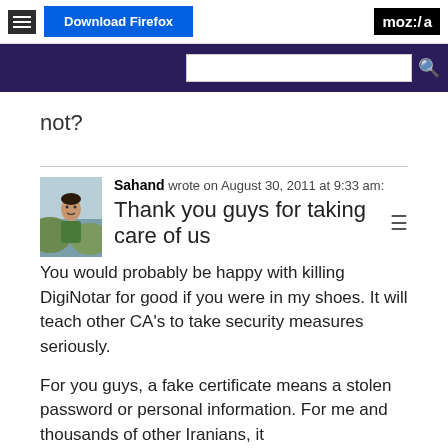[Figure (screenshot): Mozilla website top navigation bar with hamburger menu, Download Firefox button, and moz://a logo]
[Figure (screenshot): Purple search bar with search input field and search icon]
not?
Sahand wrote on August 30, 2011 at 9:33 am:
Thank you guys for taking care of us ☰
You would probably be happy with killing DigiNotar for good if you were in my shoes. It will teach other CA's to take security measures seriously.
For you guys, a fake certificate means a stolen password or personal information. For me and thousands of other Iranians, it